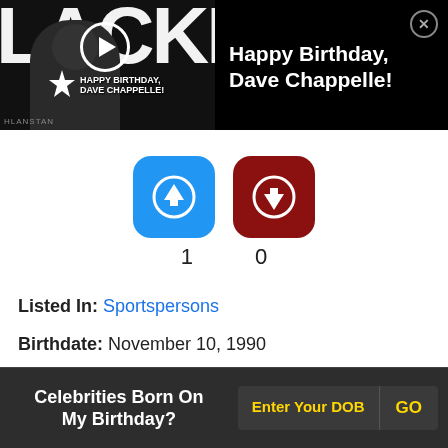[Figure (screenshot): Video thumbnail showing a man wearing sunglasses with text 'HAPPY BIRTHDAY, DAVE CHAPPELLE!' overlaid, with a play button icon]
Happy Birthday, Dave Chappelle!
1   0
Listed In: Sportspersons
Birthdate: November 10, 1990
Sun Sign: Scorpio
Height: 6'2" (189 cm)
Celebrities Born On My Birthday?
Enter Your DOB   GO